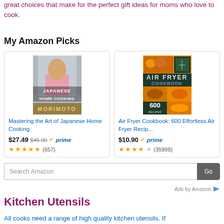great choices that make for the perfect gift ideas for moms who love to cook.
My Amazon Picks
[Figure (screenshot): Amazon product card: Mastering the Art of Japanese Home Cooking by Morimoto, $27.49 (was $45.00), Prime eligible, 4.5 stars, 657 reviews]
[Figure (screenshot): Amazon product card: Air Fryer Cookbook: 600 Effortless Air Fryer Recip..., $10.90, Prime eligible, 4 stars, 35999 reviews]
Search Amazon
Ads by Amazon
Kitchen Utensils
All cooks need a range of high quality kitchen utensils. If